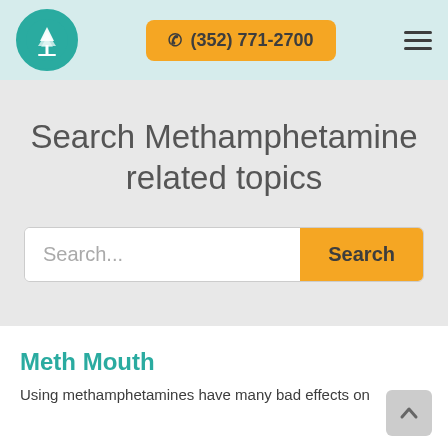(352) 771-2700
Search Methamphetamine related topics
Search...
Meth Mouth
Using methamphetamines have many bad effects on